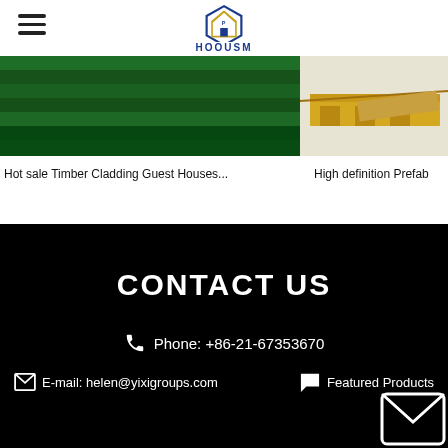[Figure (logo): HOOUSM logo with house icon in blue and gold]
[Figure (photo): Hot sale Timber Cladding Guest Houses product image - green timber cladding]
Hot sale Timber Cladding Guest Houses...
[Figure (photo): High definition Prefab product image - yellow prefab structure]
High definition Prefab
CONTACT US
Phone: +86-21-67353670
E-mail: helen@yixigroups.com
Featured Products
[Figure (illustration): Envelope/mail icon in bottom right corner]